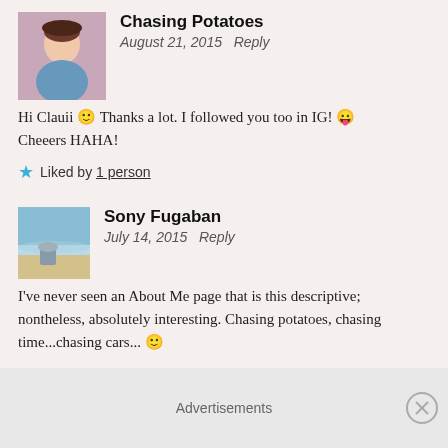Chasing Potatoes
August 21, 2015  Reply
Hi Clauii 🙂 Thanks a lot. I followed you too in IG! 😛 Cheeers HAHA!
★ Liked by 1 person
[Figure (photo): Avatar photo of Chasing Potatoes commenter]
[Figure (photo): Avatar photo of Sony Fugaban commenter - beach scene]
Sony Fugaban
July 14, 2015  Reply
I've never seen an About Me page that is this descriptive; nontheless, absolutely interesting. Chasing potatoes, chasing time...chasing cars... 🙂

Three words: Now I know!
Advertisements